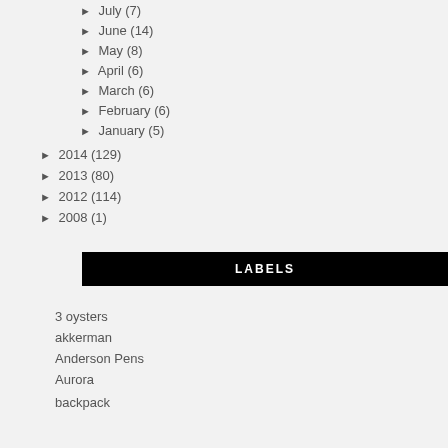► July (7)
► June (14)
► May (8)
► April (6)
► March (6)
► February (6)
► January (5)
► 2014 (129)
► 2013 (80)
► 2012 (114)
► 2008 (1)
LABELS
3 oysters
akkerman
Anderson Pens
Aurora
backpack